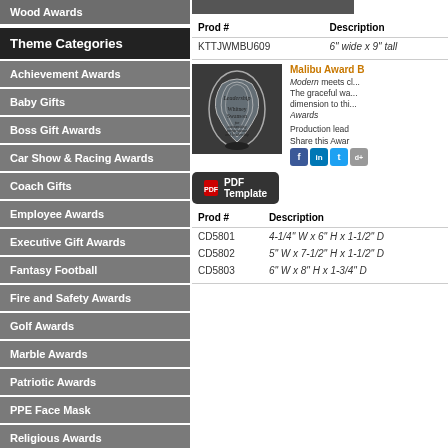Wood Awards
Theme Categories
Achievement Awards
Baby Gifts
Boss Gift Awards
Car Show & Racing Awards
Coach Gifts
Employee Awards
Executive Gift Awards
Fantasy Football
Fire and Safety Awards
Golf Awards
Marble Awards
Patriotic Awards
PPE Face Mask
Religious Awards
Sales Awards
[Figure (photo): Top product image strip]
| Prod # | Description |
| --- | --- |
| KTTJWMBU609 | 6" wide x 9" tall |
[Figure (photo): Malibu Award acrylic trophy with engraving reading Leadership, Whitney Swanson, for outstanding performance and leadership]
Malibu Award B
Modern meets cl... The graceful wa... dimension to thi... Awards
Production lead
Share this Awar
[Figure (screenshot): PDF Template button]
| Prod # | Description |
| --- | --- |
| CD5801 | 4-1/4" W x 6" H x 1-1/2" D |
| CD5802 | 5" W x 7-1/2" H x 1-1/2" D |
| CD5803 | 6" W x 8" H x 1-3/4" D |